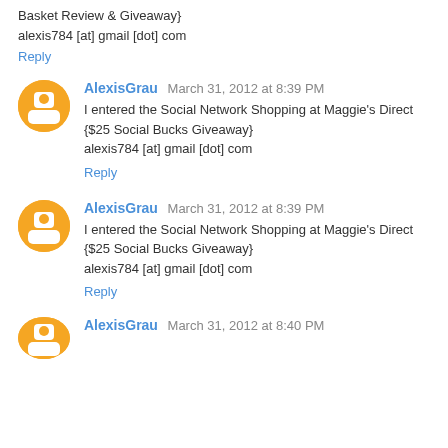Basket Review & Giveaway}
alexis784 [at] gmail [dot] com
Reply
AlexisGrau March 31, 2012 at 8:39 PM
I entered the Social Network Shopping at Maggie's Direct {$25 Social Bucks Giveaway}
alexis784 [at] gmail [dot] com
Reply
AlexisGrau March 31, 2012 at 8:39 PM
I entered the Social Network Shopping at Maggie's Direct {$25 Social Bucks Giveaway}
alexis784 [at] gmail [dot] com
Reply
AlexisGrau March 31, 2012 at 8:40 PM